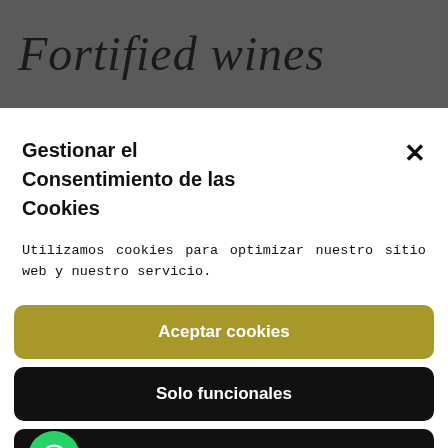Fortified wines
Gestionar el Consentimiento de las Cookies
Utilizamos cookies para optimizar nuestro sitio web y nuestro servicio.
Aceptar cookies
Solo funcionales
Ver preferencias